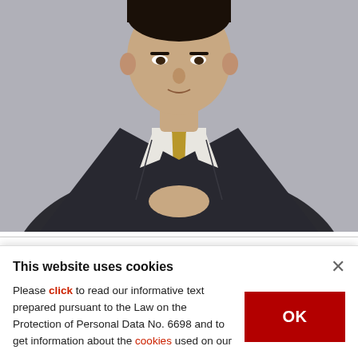[Figure (photo): Portrait photo of a man in a dark suit with a gold/beige patterned tie, seated in a black leather chair, upper body visible.]
BY DAILY SABAH WITH AGENCIES
OCT 12, 2017 12:00 AM
Detained U.S. consulate employee Metin Topuz has not demanded access to a lawyer or to see his family, Deputy Prime Minister Bekir
This website uses cookies
Please click to read our informative text prepared pursuant to the Law on the Protection of Personal Data No. 6698 and to get information about the cookies used on our